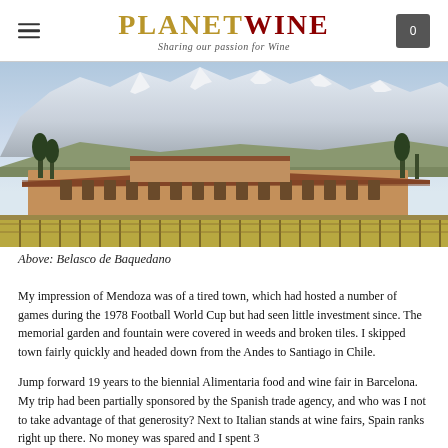PLANETWINE — Sharing our passion for Wine
[Figure (photo): Exterior of Belasco de Baquedano winery with snow-capped Andes mountains in background and vineyard rows in foreground]
Above: Belasco de Baquedano
My impression of Mendoza was of a tired town, which had hosted a number of games during the 1978 Football World Cup but had seen little investment since. The memorial garden and fountain were covered in weeds and broken tiles. I skipped town fairly quickly and headed down from the Andes to Santiago in Chile.
Jump forward 19 years to the biennial Alimentaria food and wine fair in Barcelona. My trip had been partially sponsored by the Spanish trade agency, and who was I not to take advantage of that generosity? Next to Italian stands at wine fairs, Spain ranks right up there. No money was spared and I spent 3